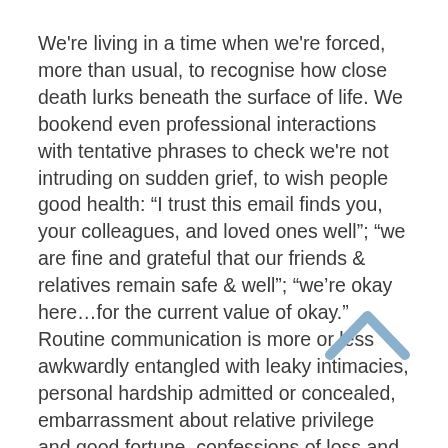We're living in a time when we're forced, more than usual, to recognise how close death lurks beneath the surface of life. We bookend even professional interactions with tentative phrases to check we're not intruding on sudden grief, to wish people good health: “I trust this email finds you, your colleagues, and loved ones well”; “we are fine and grateful that our friends & relatives remain safe & well”; “we’re okay here…for the current value of okay.” Routine communication is more or less awkwardly entangled with leaky intimacies, personal hardship admitted or concealed, embarrassment about relative privilege and good fortune, confessions of loss and grief.
For some of us, escapism is the answer. (And don’t get me wrong, we’ve also plunged into a back